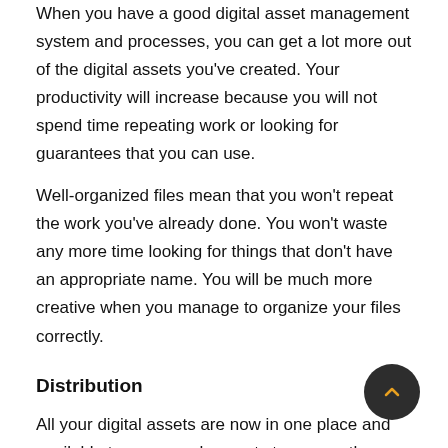When you have a good digital asset management system and processes, you can get a lot more out of the digital assets you've created. Your productivity will increase because you will not spend time repeating work or looking for guarantees that you can use.
Well-organized files mean that you won't repeat the work you've already done. You won't waste any more time looking for things that don't have an appropriate name. You will be much more creative when you manage to organize your files correctly.
Distribution
All your digital assets are now in one place and available to anyone who wants to access them. You can easily and securely access documents, pictures, and other files without